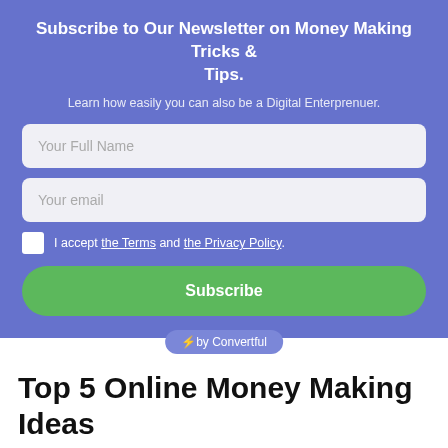Subscribe to Our Newsletter on Money Making Tricks & Tips.
Learn how easily you can also be a Digital Enterprenuer.
Your Full Name
Your email
I accept the Terms and the Privacy Policy.
Subscribe
⚡by Convertful
Top 5 Online Money Making Ideas
support@moneyconn.com · March 14, 2021 ·
Money Tips and Tricks · 4 Comments